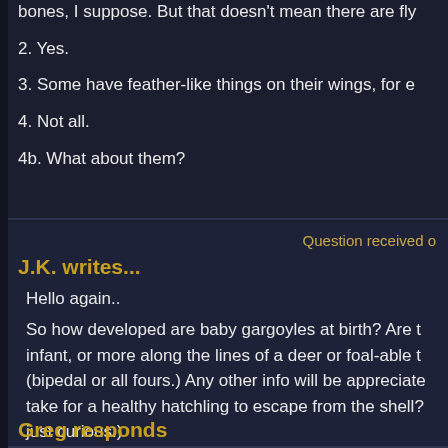bones, I suppose. But that doesn't mean there are fly
2. Yes.
3. Some have feather-like things on their wings, for e
4. Not all.
4b. What about them?
Question received o
J.K. writes...
Hello again..
So how developed are baby gargoyles at birth? Are t infant, or more along the lines of a deer or foal-able t (bipedal or all fours.) Any other info will be appreciate take for a healthy hatchling to escape from the shell? just curious:)
Greg responds